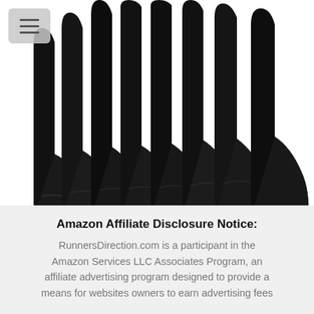[Figure (photo): Multiple pairs of black compression/running socks arranged in a fan-like overlapping pattern against a white background, showing the leg and foot portions.]
Best Running Socks For Rain
Amazon Affiliate Disclosure Notice:
RunnersDirection.com is a participant in the Amazon Services LLC Associates Program, an affiliate advertising program designed to provide a means for websites owners to earn advertising fees